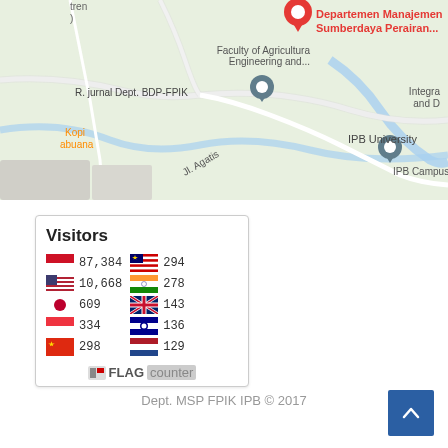[Figure (map): Google Maps screenshot showing IPB University campus area with labels: Departemen Manajemen Sumberdaya Perairan, Faculty of Agricultural Engineering and..., Integra and D, R. jurnal Dept. BDP-FPIK, IPB University, IPB Campus Par, Kopi abuana, Jl. Agatis]
[Figure (infographic): Flag Counter widget showing Visitors count by country: Indonesia 87,384; USA 10,668; Japan 609; Singapore 334; China 298; Malaysia 294; India 278; UK 143; Australia 136; Netherlands 129]
Dept. MSP FPIK IPB © 2017